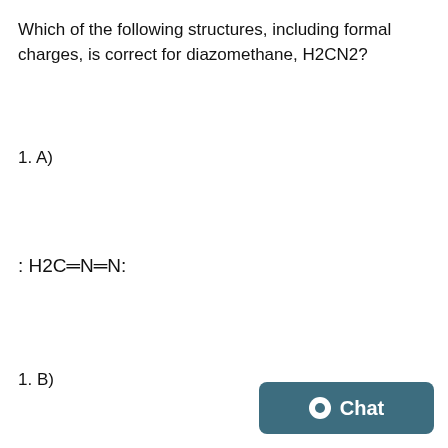Which of the following structures, including formal charges, is correct for diazomethane, H2CN2?
1. A)
1. B)
[Figure (other): Chat button widget in dark teal color with chat bubble icon and 'Chat' label]